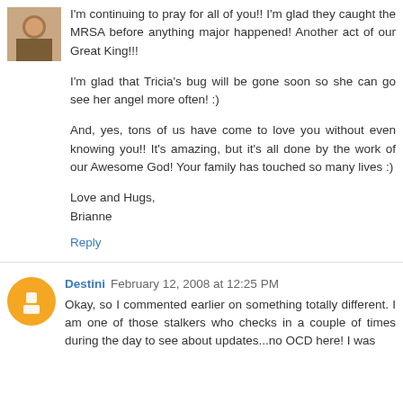[Figure (photo): Small avatar photo of a person, square thumbnail]
I'm continuing to pray for all of you!! I'm glad they caught the MRSA before anything major happened! Another act of our Great King!!!

I'm glad that Tricia's bug will be gone soon so she can go see her angel more often! :)

And, yes, tons of us have come to love you without even knowing you!! It's amazing, but it's all done by the work of our Awesome God! Your family has touched so many lives :)

Love and Hugs,
Brianne
Reply
Destini February 12, 2008 at 12:25 PM
Okay, so I commented earlier on something totally different. I am one of those stalkers who checks in a couple of times during the day to see about updates...no OCD here! I was